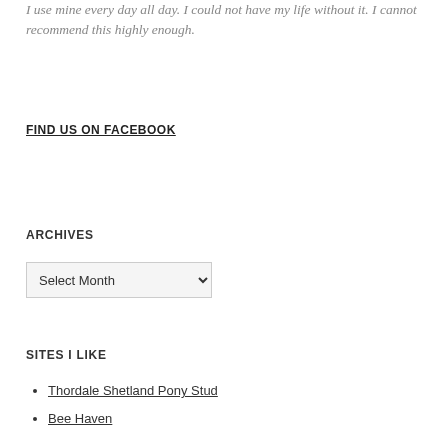I use mine every day all day. I could not have my life without it. I cannot recommend this highly enough.
FIND US ON FACEBOOK
ARCHIVES
Select Month
SITES I LIKE
Thordale Shetland Pony Stud
Bee Haven